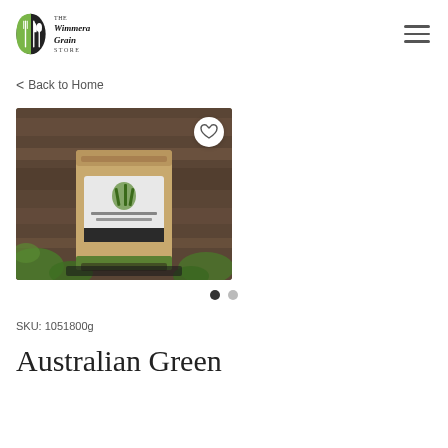The Wimmera Grain Store
< Back to Home
[Figure (photo): A kraft paper bag with a label showing grass and text, placed outdoors on a dark wooden surface surrounded by green leafy plants. A white circular wishlist/heart button overlays the top right of the image.]
SKU: 1051800g
Australian Green